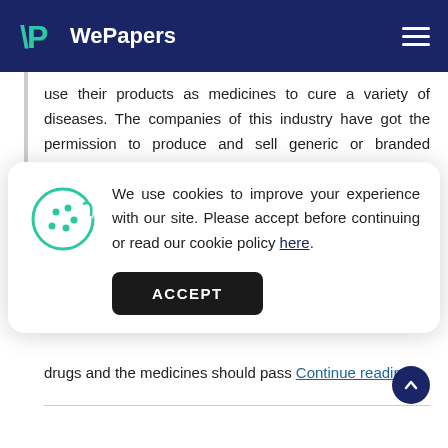WePapers
use their products as medicines to cure a variety of diseases. The companies of this industry have got the permission to produce and sell generic or branded medicines and medical instruments. In
We use cookies to improve your experience with our site. Please accept before continuing or read our cookie policy here.
drugs and the medicines should pass Continue reading...